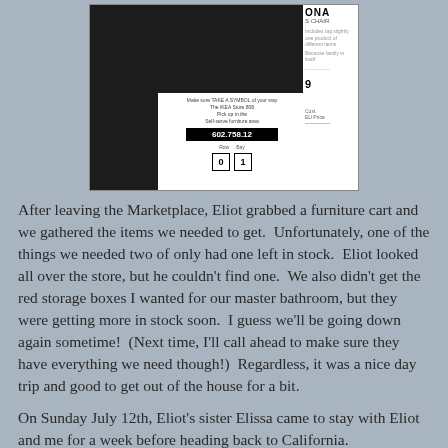[Figure (photo): Photo of IKEA price tag labels on dark shelf. Main label shows $38.99, IKEA logo, with a slip showing barcode number 602.758.12 and bin locations Row 0, Bay 1. A second label to the right shows partial product name ending in 'ONA'.]
After leaving the Marketplace, Eliot grabbed a furniture cart and we gathered the items we needed to get.  Unfortunately, one of the things we needed two of only had one left in stock.  Eliot looked all over the store, but he couldn't find one.  We also didn't get the red storage boxes I wanted for our master bathroom, but they were getting more in stock soon.  I guess we'll be going down again sometime!  (Next time, I'll call ahead to make sure they have everything we need though!)  Regardless, it was a nice day trip and good to get out of the house for a bit.
On Sunday July 12th, Eliot's sister Elissa came to stay with Eliot and me for a week before heading back to California.